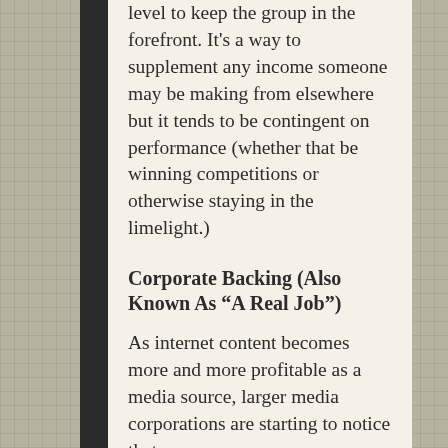level to keep the group in the forefront. It's a way to supplement any income someone may be making from elsewhere but it tends to be contingent on performance (whether that be winning competitions or otherwise staying in the limelight.)
Corporate Backing (Also Known As “A Real Job”)
As internet content becomes more and more profitable as a media source, larger media corporations are starting to notice that